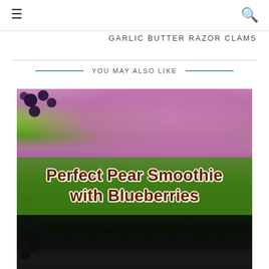☰   🔍
GARLIC BUTTER RAZOR CLAMS
YOU MAY ALSO LIKE
[Figure (photo): Photo of blueberry and pear smoothies in pink/purple glasses with blueberries scattered around, overlaid with a green band containing the title 'Perfect Pear Smoothie with Blueberries' in brown bold text with white outline.]